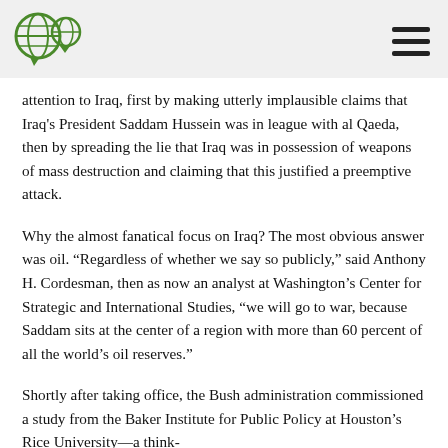[Logo] [Hamburger menu]
attention to Iraq, first by making utterly implausible claims that Iraq's President Saddam Hussein was in league with al Qaeda, then by spreading the lie that Iraq was in possession of weapons of mass destruction and claiming that this justified a preemptive attack.
Why the almost fanatical focus on Iraq? The most obvious answer was oil. “Regardless of whether we say so publicly,” said Anthony H. Cordesman, then as now an analyst at Washington’s Center for Strategic and International Studies, “we will go to war, because Saddam sits at the center of a region with more than 60 percent of all the world’s oil reserves.”
Shortly after taking office, the Bush administration commissioned a study from the Baker Institute for Public Policy at Houston’s Rice University—a think-